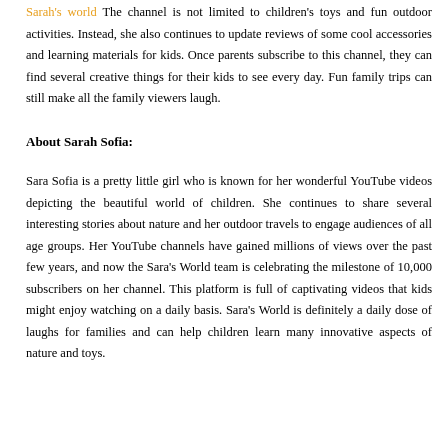Sarah's world The channel is not limited to children's toys and fun outdoor activities. Instead, she also continues to update reviews of some cool accessories and learning materials for kids. Once parents subscribe to this channel, they can find several creative things for their kids to see every day. Fun family trips can still make all the family viewers laugh.
About Sarah Sofia:
Sara Sofia is a pretty little girl who is known for her wonderful YouTube videos depicting the beautiful world of children. She continues to share several interesting stories about nature and her outdoor travels to engage audiences of all age groups. Her YouTube channels have gained millions of views over the past few years, and now the Sara's World team is celebrating the milestone of 10,000 subscribers on her channel. This platform is full of captivating videos that kids might enjoy watching on a daily basis. Sara's World is definitely a daily dose of laughs for families and can help children learn many innovative aspects of nature and toys.